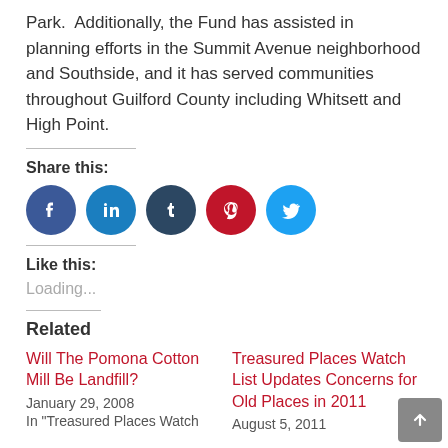Park.  Additionally, the Fund has assisted in planning efforts in the Summit Avenue neighborhood and Southside, and it has served communities throughout Guilford County including Whitsett and High Point.
Share this:
[Figure (other): Row of five social media share buttons: Facebook (blue), LinkedIn (light blue), Tumblr (dark blue), Pinterest (red), Twitter (cyan)]
Like this:
Loading...
Related
Will The Pomona Cotton Mill Be Landfill?
January 29, 2008
In "Treasured Places Watch
Treasured Places Watch List Updates Concerns for Old Places in 2011
August 5, 2011